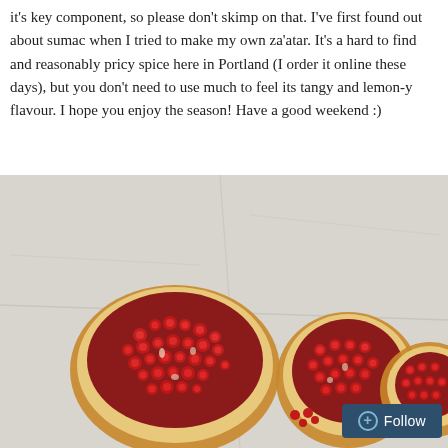it's key component, so please don't skimp on that. I've first found out about sumac when I tried to make my own za'atar. It's a hard to find and reasonably pricy spice here in Portland (I order it online these days), but you don't need to use much to feel its tangy and lemon-y flavour. I hope you enjoy the season! Have a good weekend :)
[Figure (photo): Close-up photograph of three pieces of broken open pomegranate showing bright red arils/seeds on a white marble surface.]